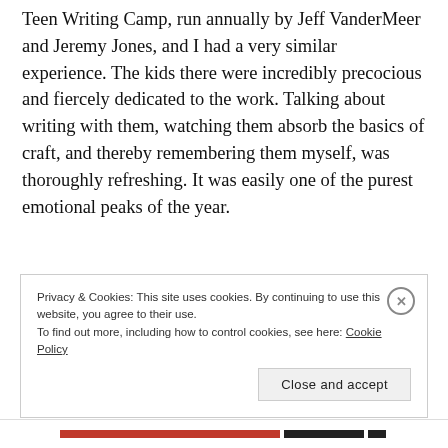Teen Writing Camp, run annually by Jeff VanderMeer and Jeremy Jones, and I had a very similar experience. The kids there were incredibly precocious and fiercely dedicated to the work. Talking about writing with them, watching them absorb the basics of craft, and thereby remembering them myself, was thoroughly refreshing. It was easily one of the purest emotional peaks of the year.
Privacy & Cookies: This site uses cookies. By continuing to use this website, you agree to their use.
To find out more, including how to control cookies, see here: Cookie Policy
Close and accept